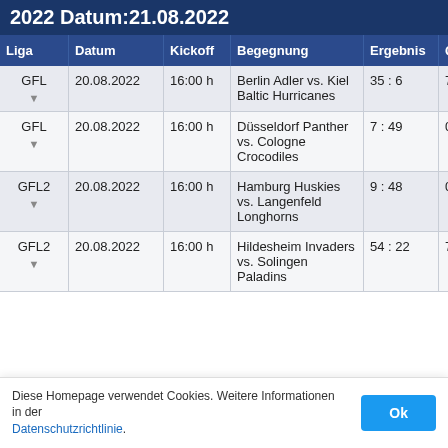2022 Datum:21.08.2022
| Liga | Datum | Kickoff | Begegnung | Ergebnis | Qu |
| --- | --- | --- | --- | --- | --- |
| GFL | 20.08.2022 | 16:00 h | Berlin Adler vs. Kiel Baltic Hurricanes | 35 : 6 | 7:0 |
| GFL | 20.08.2022 | 16:00 h | Düsseldorf Panther vs. Cologne Crocodiles | 7 : 49 | 0:2 |
| GFL2 | 20.08.2022 | 16:00 h | Hamburg Huskies vs. Langenfeld Longhorns | 9 : 48 | 0:2 |
| GFL2 | 20.08.2022 | 16:00 h | Hildesheim Invaders vs. Solingen Paladins | 54 : 22 | 7:7 |
Diese Homepage verwendet Cookies. Weitere Informationen in der Datenschutzrichtlinie.